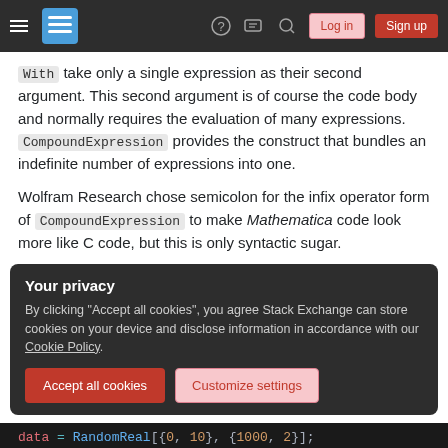Navigation bar with hamburger menu, Stack Exchange logo, question mark icon, chat icon, search icon, Log in button, Sign up button
With take only a single expression as their second argument. This second argument is of course the code body and normally requires the evaluation of many expressions. CompoundExpression provides the construct that bundles an indefinite number of expressions into one.
Wolfram Research chose semicolon for the infix operator form of CompoundExpression to make Mathematica code look more like C code, but this is only syntactic sugar.
Your privacy
By clicking "Accept all cookies", you agree Stack Exchange can store cookies on your device and disclose information in accordance with our Cookie Policy.
[Accept all cookies] [Customize settings]
data = RandomReal[{0, 10}, {1000, 2}];